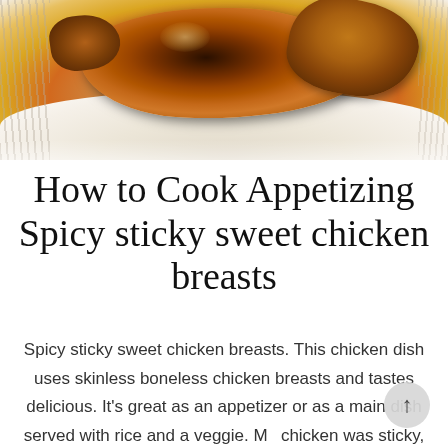[Figure (photo): Close-up photo of glazed spicy sticky sweet chicken breasts on a white plate, showing dark caramelized coating]
How to Cook Appetizing Spicy sticky sweet chicken breasts
Spicy sticky sweet chicken breasts. This chicken dish uses skinless boneless chicken breasts and tastes delicious. It's great as an appetizer or as a main dish served with rice and a veggie. My chicken was sticky, sweet and spicy just the way it supposed to be. The above that is this...